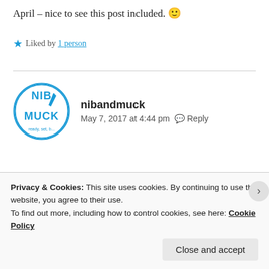April – nice to see this post included. 🙂
★ Liked by 1 person
nibandmuck
May 7, 2017 at 4:44 pm  💬 Reply
[Figure (logo): Circular logo with text NIB MUCK in blue with pen/nib illustration]
Awww awesome! I hope Brad said some nice things ;)!
Privacy & Cookies: This site uses cookies. By continuing to use this website, you agree to their use.
To find out more, including how to control cookies, see here: Cookie Policy
Close and accept